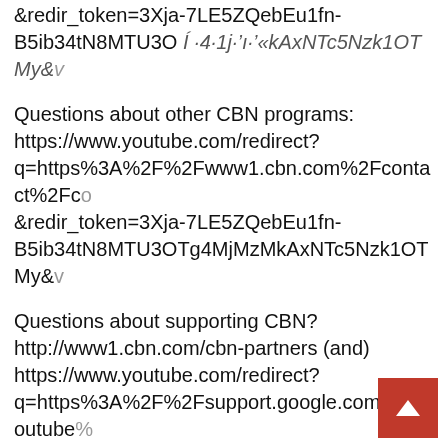&redir_token=3Xja-7LE5ZQebEu1fn-B5ib34tN8MTU3OÍ‘4·¹j·¹ı·¹ı·¹kAxNTc5Nzk1OTMy&v
Questions about other CBN programs: https://www.youtube.com/redirect?q=https%3A%2F%2Fwww1.cbn.com%2Fcontact%2Fc&redir_token=3Xja-7LE5ZQebEu1fn-B5ib34tN8MTU3OTg4MjMzMkAxNTc5Nzk1OTMy&v
Questions about supporting CBN? http://www1.cbn.com/cbn-partners (and) https://www.youtube.com/redirect?q=https%3A%2F%2Fsupport.google.com%2Fyoutube%2F7LE5ZQebEu1fn-B5ib34tN8MTU3OTg4MjMzMkAxNTc5Nzk1OTMy&v
Questions about Helping the Home Front? Call 757-226-2333 https://www.youtube.com/redirect?